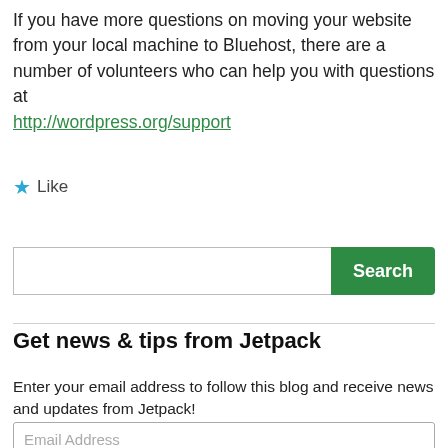If you have more questions on moving your website from your local machine to Bluehost, there are a number of volunteers who can help you with questions at http://wordpress.org/support
★ Like
[Figure (other): Search input field with green Search button]
Get news & tips from Jetpack
Enter your email address to follow this blog and receive news and updates from Jetpack!
[Figure (other): Email Address input field with placeholder text]